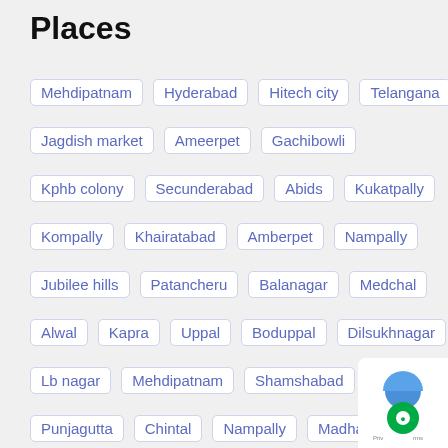Places
Mehdipatnam   Hyderabad   Hitech city   Telangana
Jagdish market   Ameerpet   Gachibowli
Kphb colony   Secunderabad   Abids   Kukatpally
Kompally   Khairatabad   Amberpet   Nampally
Jubilee hills   Patancheru   Balanagar   Medchal
Alwal   Kapra   Uppal   Boduppal   Dilsukhnagar
Lb nagar   Mehdipatnam   Shamshabad   Begumpet
Punjagutta   Chintal   Nampally   Madhapur
Kondapur   Banjara hills   Yousufguda   Manikonda
Shaikpet   Haffezpet   Miyapur   Bachupally